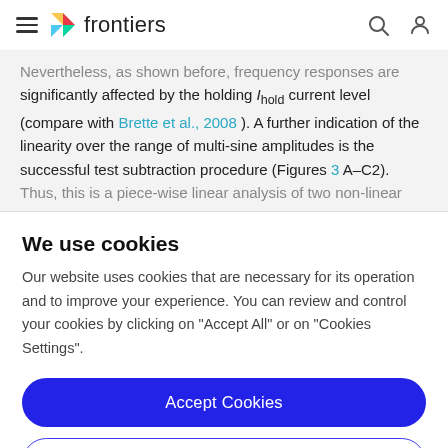frontiers
Nevertheless, as shown before, frequency responses are significantly affected by the holding Ihold current level (compare with Brette et al., 2008 ). A further indication of the linearity over the range of multi-sine amplitudes is the successful test subtraction procedure (Figures 3 A–C2). Thus, this is a piece-wise linear analysis of two non-linear
We use cookies
Our website uses cookies that are necessary for its operation and to improve your experience. You can review and control your cookies by clicking on "Accept All" or on "Cookies Settings".
Accept Cookies
Cookies Settings